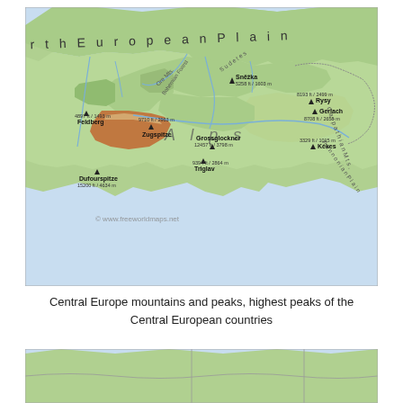[Figure (map): Map of Central Europe showing mountains and highest peaks including Zugspitze, Grossglockner, Dufourspitze, Triglav, Snezka, Feldberg, Rysy, Gerlach, Kekes, and others. Shows geographic features: North European Plain, Alps, Carpathian Mts., Bohemian Forest, Ore Mts., Sudetes, Pannonian Plain. Copyright www.freeworldmaps.net]
Central Europe mountains and peaks, highest peaks of the Central European countries
[Figure (map): Partial bottom map showing northern portion of Central Europe, cropped view similar to the top map.]